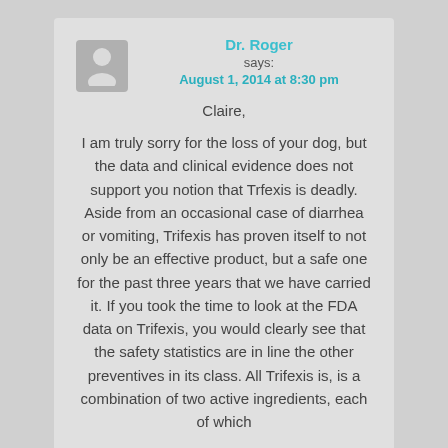[Figure (illustration): User avatar placeholder icon showing a silhouette of a person on a gray background]
Dr. Roger
says:
August 1, 2014 at 8:30 pm
Claire,
I am truly sorry for the loss of your dog, but the data and clinical evidence does not support you notion that Trfexis is deadly. Aside from an occasional case of diarrhea or vomiting, Trifexis has proven itself to not only be an effective product, but a safe one for the past three years that we have carried it. If you took the time to look at the FDA data on Trifexis, you would clearly see that the safety statistics are in line the other preventives in its class. All Trifexis is, is a combination of two active ingredients, each of which